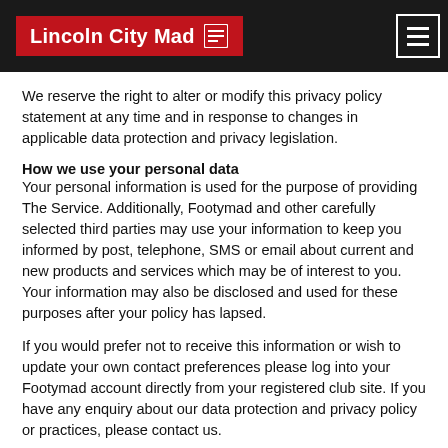Lincoln City Mad
We reserve the right to alter or modify this privacy policy statement at any time and in response to changes in applicable data protection and privacy legislation.
How we use your personal data
Your personal information is used for the purpose of providing The Service. Additionally, Footymad and other carefully selected third parties may use your information to keep you informed by post, telephone, SMS or email about current and new products and services which may be of interest to you. Your information may also be disclosed and used for these purposes after your policy has lapsed.
If you would prefer not to receive this information or wish to update your own contact preferences please log into your Footymad account directly from your registered club site. If you have any enquiry about our data protection and privacy policy or practices, please contact us.